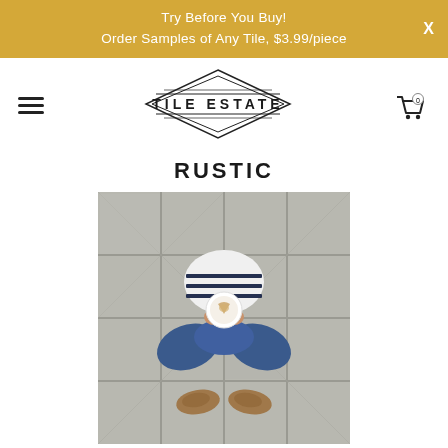Try Before You Buy!
Order Samples of Any Tile, $3.99/piece
[Figure (logo): Tile Estate logo with geometric diamond/hexagon border and double horizontal lines]
RUSTIC
[Figure (photo): Aerial view of person sitting on light grey rustic tile floor holding a latte coffee cup, wearing jeans and brown shoes]
Rustic, Light Grey 12x24